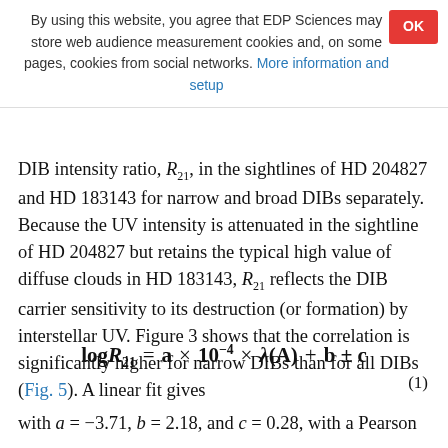By using this website, you agree that EDP Sciences may store web audience measurement cookies and, on some pages, cookies from social networks. More information and setup
DIB intensity ratio, R21, in the sightlines of HD 204827 and HD 183143 for narrow and broad DIBs separately. Because the UV intensity is attenuated in the sightline of HD 204827 but retains the typical high value of diffuse clouds in HD 183143, R21 reflects the DIB carrier sensitivity to its destruction (or formation) by interstellar UV. Figure 3 shows that the correlation is significantly higher for narrow DIBs than for all DIBs (Fig. 5). A linear fit gives
with a = −3.71, b = 2.18, and c = 0.28, with a Pearson